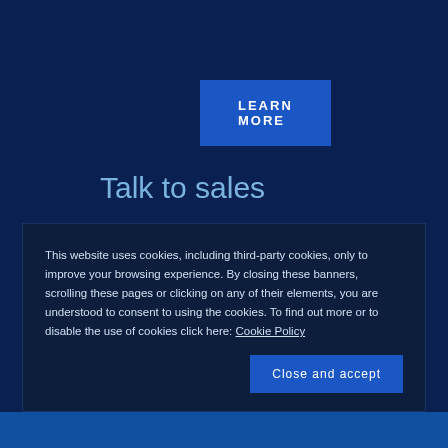LEARN MORE
Talk to sales
Any queries?
Our sales experts will follow up.
CONTACT SALES
Connect with us
[Figure (other): Social media icons: LinkedIn, YouTube, Twitter]
This website uses cookies, including third-party cookies, only to improve your browsing experience. By closing these banners, scrolling these pages or clicking on any of their elements, you are understood to consent to using the cookies. To find out more or to disable the use of cookies click here: Cookie Policy
Close and accept